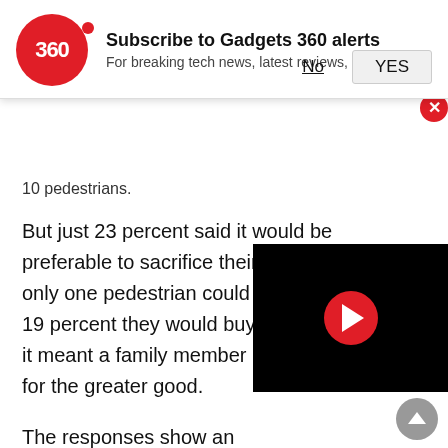Subscribe to Gadgets 360 alerts — For breaking tech news, latest reviews, and more
10 pedestrians.
But just 23 percent said it would be preferable to sacrifice their passenger when only one pedestrian could be saved. And only 19 percent they would buy a self-driving car if it meant a family member might be sacrificed for the greater good.
The responses show an apparent co[nflict: people want to live a world in which everybo[dy] cars that minimize casualties, but th[eir own] car to protect them at all costs," said Rahwan.
"But if everybody thinks this way then we end up in a
[Figure (screenshot): Video player overlay with black background and red play button circle in center]